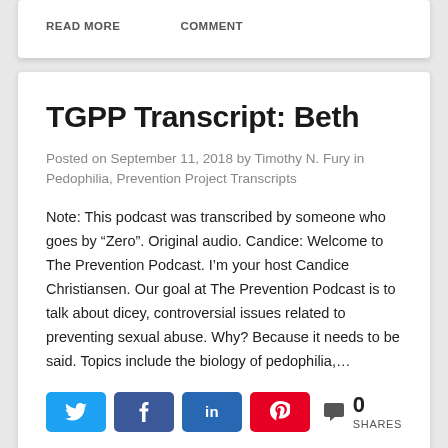READ MORE   COMMENT
TGPP Transcript: Beth
Posted on September 11, 2018 by Timothy N. Fury in Pedophilia, Prevention Project Transcripts
Note: This podcast was transcribed by someone who goes by “Zero”. Original audio. Candice: Welcome to The Prevention Podcast. I’m your host Candice Christiansen. Our goal at The Prevention Podcast is to talk about dicey, controversial issues related to preventing sexual abuse. Why? Because it needs to be said. Topics include the biology of pedophilia,…
[Figure (other): Social sharing buttons row: Twitter (blue), Facebook (blue), LinkedIn (dark blue), Pinterest (red), and a share count showing 0 SHARES]